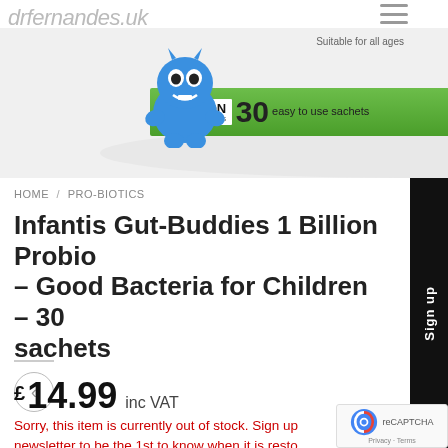[Figure (photo): Product image of Infantis Gut-Buddies probiotic container with blue cartoon monster character. Label shows '1 BILLION MICROORGANISMS 30 easy to use sachets' on a green banner. White container bottom visible.]
HOME / PRO-BIOTICS
Infantis Gut-Buddies 1 Billion Probio – Good Bacteria for Children – 30 sachets
£14.99 inc VAT
Sorry, this item is currently out of stock. Sign up newsletter to be the 1st to know when it is resto